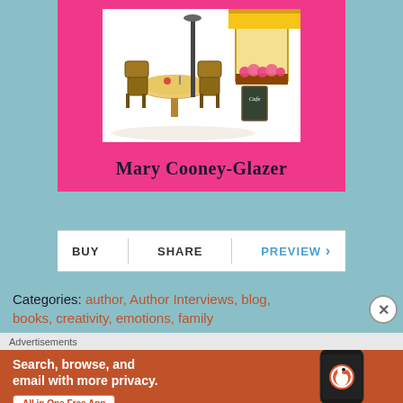[Figure (illustration): Book cover illustration showing a French cafe outdoor seating scene with bistro chairs, a table with a lamp, flower boxes, and a cafe chalkboard sign, on a pink/hot-pink background]
Mary Cooney-Glazer
BUY | SHARE | PREVIEW >
Categories: author, Author Interviews, blog, books, creativity, emotions, family
Advertisements
[Figure (screenshot): DuckDuckGo advertisement banner with orange/brown background showing text 'Search, browse, and email with more privacy. All in One Free App' alongside a phone mockup with DuckDuckGo logo]